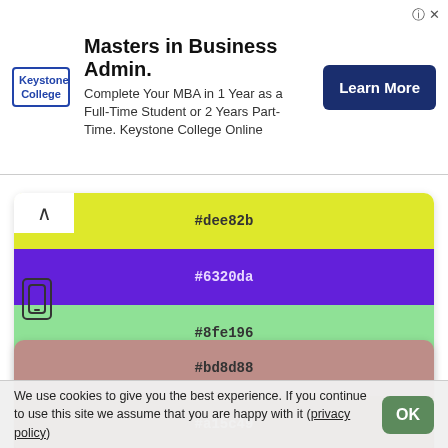[Figure (other): Advertisement banner for Keystone College MBA program with logo, text, and Learn More button]
[Figure (infographic): Color palette swatches showing hex colors: #dee82b (yellow-green), #6320da (purple), #8fe196 (light green), #408a37 (dark green), #824032 (brown-red)]
[Figure (other): Small phone/mobile icon outline]
[Figure (infographic): Color palette swatches showing hex colors: #bd8d88 (dusty rose), #a15c49 (terracotta)]
We use cookies to give you the best experience. If you continue to use this site we assume that you are happy with it (privacy policy)